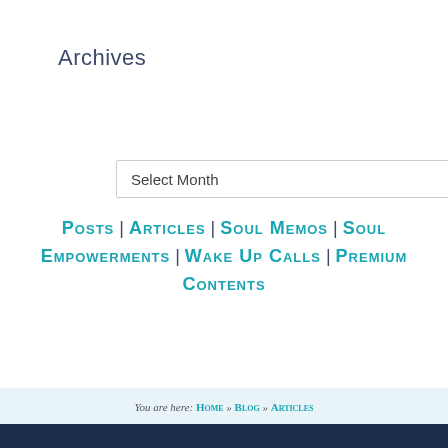Archives
Select Month
Posts | Articles | Soul Memos | Soul Empowerments | Wake Up Calls | Premium Contents
You are here: Home » Blog » Articles